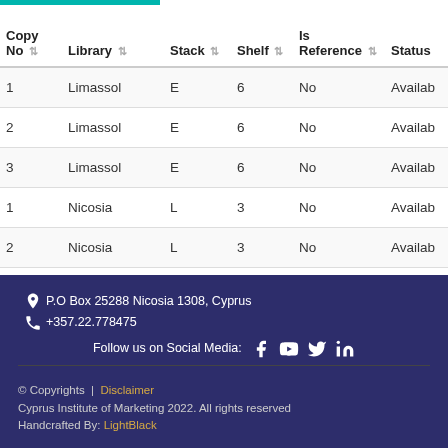| Copy No | Library | Stack | Shelf | Is Reference | Status |
| --- | --- | --- | --- | --- | --- |
| 1 | Limassol | E | 6 | No | Availab… |
| 2 | Limassol | E | 6 | No | Availab… |
| 3 | Limassol | E | 6 | No | Availab… |
| 1 | Nicosia | L | 3 | No | Availab… |
| 2 | Nicosia | L | 3 | No | Availab… |
P.O Box 25288 Nicosia 1308, Cyprus
+357.22.778475
Follow us on Social Media:
© Copyrights | Disclaimer
Cyprus Institute of Marketing 2022. All rights reserved
Handcrafted By: LightBlack